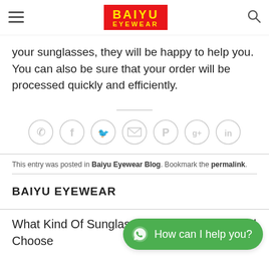BAIYU EYEWEAR
your sunglasses, they will be happy to help you. You can also be sure that your order will be processed quickly and efficiently.
[Figure (other): Social sharing icons row: phone, Facebook, Twitter, email, Pinterest, Google+, LinkedIn — all in light grey circular outlines]
This entry was posted in Baiyu Eyewear Blog. Bookmark the permalink.
BAIYU EYEWEAR
What Kind Of Sunglasses Factory You Should Choose
[Figure (other): WhatsApp chat button with green background reading: How can I help you?]